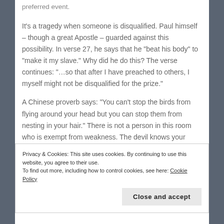preferred event.
It’s a tragedy when someone is disqualified. Paul himself – though a great Apostle – guarded against this possibility. In verse 27, he says that he “beat his body” to “make it my slave.” Why did he do this? The verse continues: “…so that after I have preached to others, I myself might not be disqualified for the prize.”
A Chinese proverb says: “You can’t stop the birds from flying around your head but you can stop them from nesting in your hair.” There is not a person in this room who is exempt from weakness. The devil knows your
Privacy & Cookies: This site uses cookies. By continuing to use this website, you agree to their use.
To find out more, including how to control cookies, see here: Cookie Policy
Close and accept